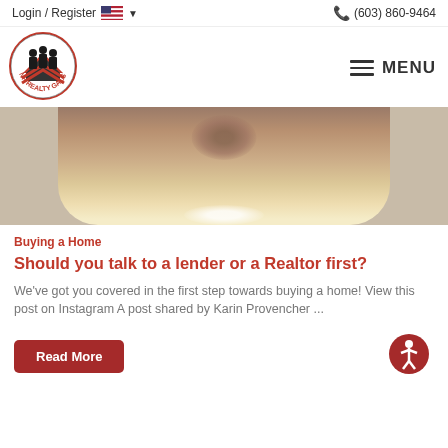Login / Register  (603) 860-9464
[Figure (logo): NH Realty Gals circular logo with silhouettes of people and a house]
[Figure (photo): Blurred close-up photo of a wooden surface with a round object, warm tones]
Buying a Home
Should you talk to a lender or a Realtor first?
We've got you covered in the first step towards buying a home! View this post on Instagram A post shared by Karin Provencher ...
Read More